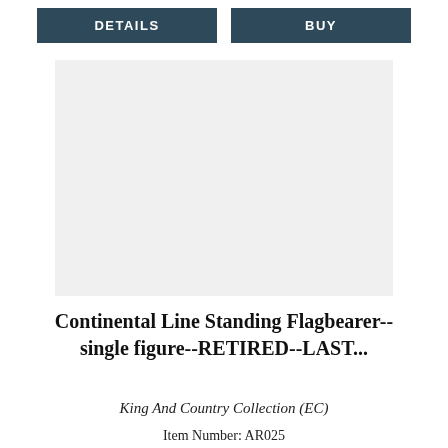[Figure (other): Two navigation buttons: DETAILS and BUY, dark teal/slate colored rectangles with white bold text]
[Figure (photo): Product image placeholder — light gray square background, no visible product image loaded]
Continental Line Standing Flagbearer--single figure--RETIRED--LAST...
King And Country Collection (EC)
Item Number: AR025